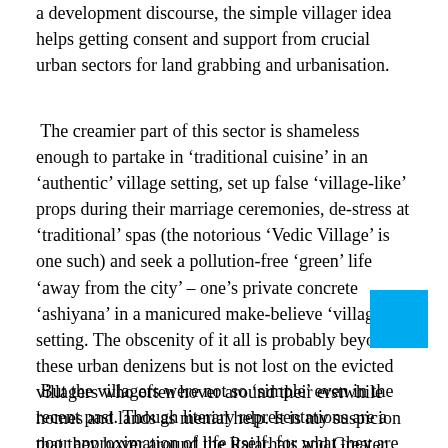a development discourse, the simple villager idea helps getting consent and support from crucial urban sectors for land grabbing and urbanisation.
The creamier part of this sector is shameless enough to partake in 'traditional cuisine' in an 'authentic' village setting, set up false 'village-like' props during their marriage ceremonies, de-stress at 'traditional' spas (the notorious 'Vedic Village' is one such) and seek a pollution-free 'green' life 'away from the city' – one's private concrete 'ashiyana' in a manicured make-believe 'village' setting. The obscenity of it all is probably beyond these urban denizens but is not lost on the evicted villagers who often hover around their erstwhile homes and lands as menial help. It is my suspicion that they hover around the Rajarhats and Greater Noidas of the subcontinent even after death.
But the villagers were not so 'simple' even in the recent past. Though literary representations are a poor approximation of life itself, for what they are worth, the villagers in the works of Sarat